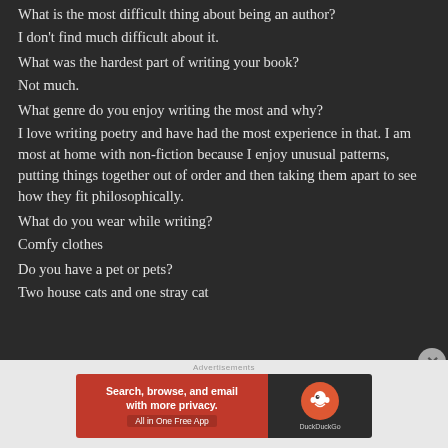What is the most difficult thing about being an author?
I don't find much difficult about it.
What was the hardest part of writing your book?
Not much.
What genre do you enjoy writing the most and why?
I love writing poetry and have had the most experience in that. I am most at home with non-fiction because I enjoy unusual patterns, putting things together out of order and then taking them apart to see how they fit philosophically.
What do you wear while writing?
Comfy clothes
Do you have a pet or pets?
Two house cats and one stray cat
[Figure (screenshot): DuckDuckGo advertisement banner: orange left panel with text 'Search, browse, and email with more privacy. All in One Free App' and dark right panel with DuckDuckGo duck logo]